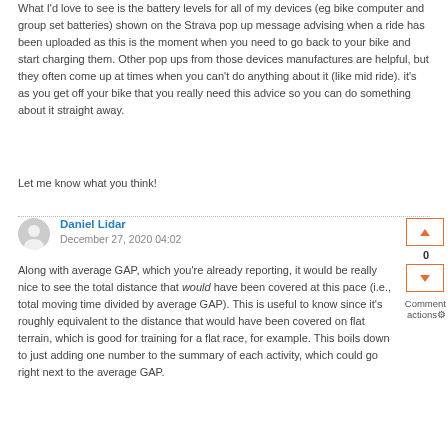What I'd love to see is the battery levels for all of my devices (eg bike computer and group set batteries) shown on the Strava pop up message advising when a ride has been uploaded as this is the moment when you need to go back to your bike and start charging them. Other pop ups from those devices manufactures are helpful, but they often come up at times when you can't do anything about it (like mid ride). it's as you get off your bike that you really need this advice so you can do something about it straight away.
Let me know what you think!
Daniel Lidar
December 27, 2020 04:02
Along with average GAP, which you're already reporting, it would be really nice to see the total distance that would have been covered at this pace (i.e., total moving time divided by average GAP). This is useful to know since it's roughly equivalent to the distance that would have been covered on flat terrain, which is good for training for a flat race, for example. This boils down to just adding one number to the summary of each activity, which could go right next to the average GAP.